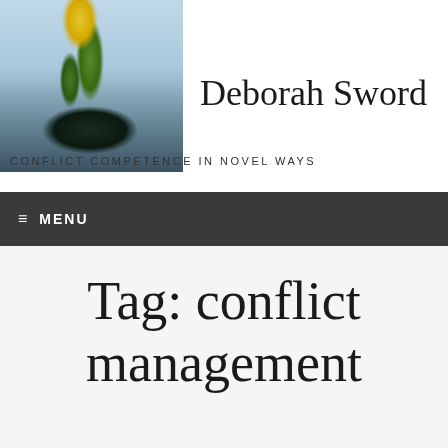[Figure (illustration): Header image of a plant/flower growing from dark soil against a light blue sky background]
Deborah Sword
CONFLICT COMPETENCE IN NOVEL WAYS
≡ MENU
Tag: conflict management